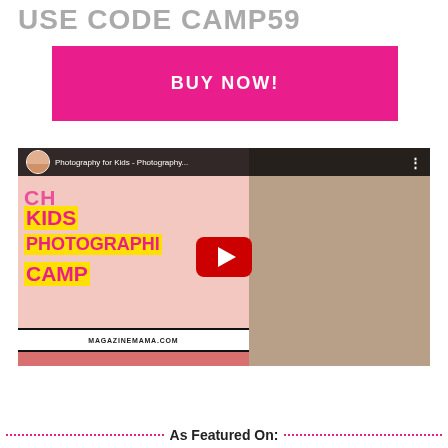USE CODE CAMP59
[Figure (other): Pink BUY NOW! button]
[Figure (screenshot): YouTube video thumbnail for Photography for Kids - Photography Camp featuring a woman with blonde curly hair and glasses, with KIDS PHOTOGRAPHY CAMP text overlay and a play button]
As Featured On: